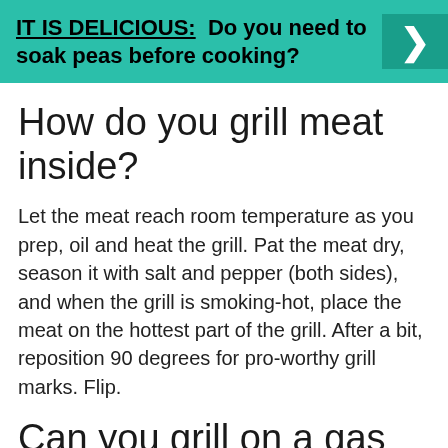IT IS DELICIOUS: Do you need to soak peas before cooking?
How do you grill meat inside?
Let the meat reach room temperature as you prep, oil and heat the grill. Pat the meat dry, season it with salt and pepper (both sides), and when the grill is smoking-hot, place the meat on the hottest part of the grill. After a bit, reposition 90 degrees for pro-worthy grill marks. Flip.
Can you grill on a gas stove?